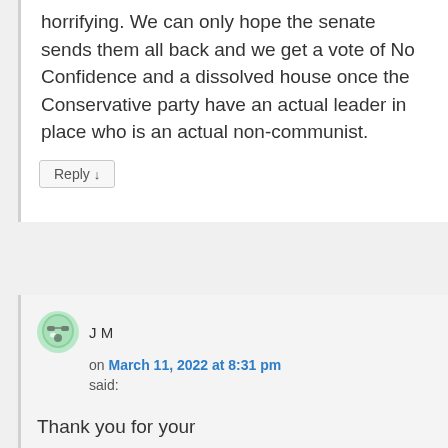horrifying. We can only hope the senate sends them all back and we get a vote of No Confidence and a dissolved house once the Conservative party have an actual leader in place who is an actual non-communist.
Reply ↓
J M
on March 11, 2022 at 8:31 pm
said:
Thank you for your wonderful explanation!